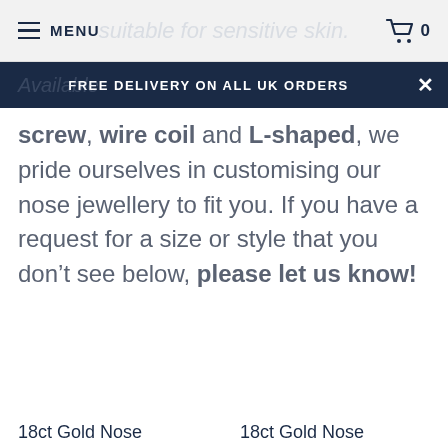MENU  [cart icon] 0
FREE DELIVERY ON ALL UK ORDERS
screw, wire coil and L-shaped, we pride ourselves in customising our nose jewellery to fit you. If you have a request for a size or style that you don't see below, please let us know!
18ct Gold Nose
18ct Gold Nose